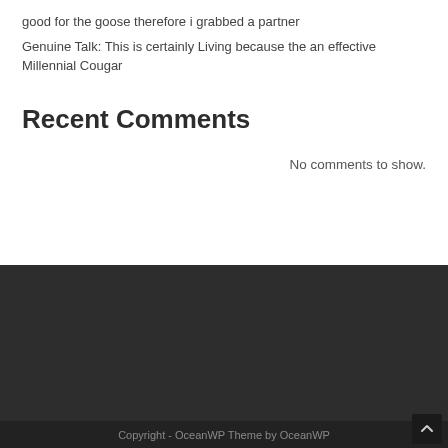good for the goose therefore i grabbed a partner
Genuine Talk: This is certainly Living because the an effective Millennial Cougar
Recent Comments
No comments to show.
Copyright - OceanWP Theme by OceanWP